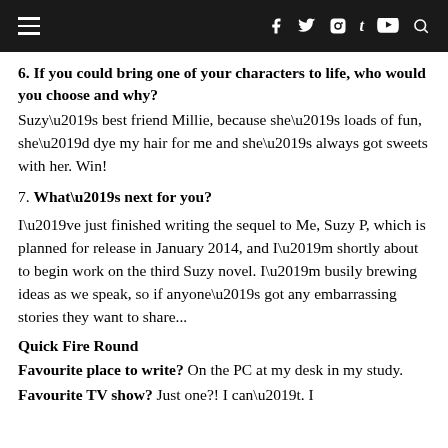Navigation bar with hamburger menu and social icons: f, twitter, instagram, tumblr, youtube, search
6. If you could bring one of your characters to life, who would you choose and why?
Suzy’s best friend Millie, because she’s loads of fun, she’d dye my hair for me and she’s always got sweets with her. Win!
7. What’s next for you?
I’ve just finished writing the sequel to Me, Suzy P, which is planned for release in January 2014, and I’m shortly about to begin work on the third Suzy novel. I’m busily brewing ideas as we speak, so if anyone’s got any embarrassing stories they want to share...
Quick Fire Round
Favourite place to write? On the PC at my desk in my study.
Favourite TV show? Just one?! I can’t. I